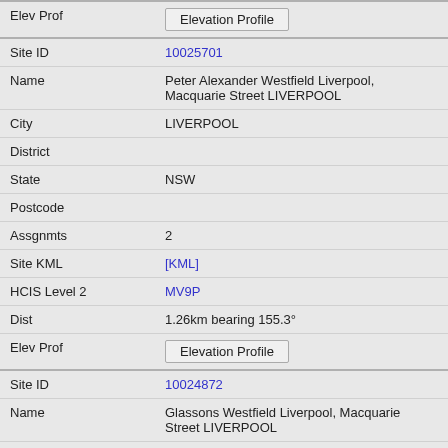| Field | Value |
| --- | --- |
| Elev Prof | Elevation Profile |
| Site ID | 10025701 |
| Name | Peter Alexander Westfield Liverpool, Macquarie Street LIVERPOOL |
| City | LIVERPOOL |
| District |  |
| State | NSW |
| Postcode |  |
| Assgnmts | 2 |
| Site KML | [KML] |
| HCIS Level 2 | MV9P |
| Dist | 1.26km bearing 155.3° |
| Elev Prof | Elevation Profile |
| Site ID | 10024872 |
| Name | Glassons Westfield Liverpool, Macquarie Street LIVERPOOL |
| City | LIVERPOOL |
| District |  |